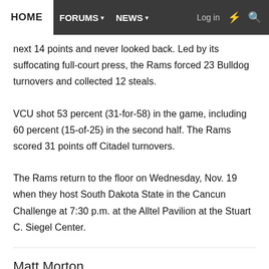HOME | FORUMS | NEWS | Log in
next 14 points and never looked back. Led by its suffocating full-court press, the Rams forced 23 Bulldog turnovers and collected 12 steals.
VCU shot 53 percent (31-for-58) in the game, including 60 percent (15-of-25) in the second half. The Rams scored 31 points off Citadel turnovers.
The Rams return to the floor on Wednesday, Nov. 19 when they host South Dakota State in the Cancun Challenge at 7:30 p.m. at the Alltel Pavilion at the Stuart C. Siegel Center.
Matt Morton
Matt has been reporting on VCU sports for Ram Nation since 2007 with